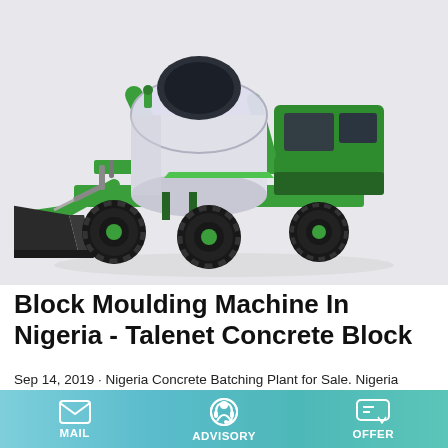[Figure (photo): Green and white self-loading concrete mixer truck with a large rotating drum and front bucket loader on a light grey background]
Block Moulding Machine In Nigeria - Talenet Concrete Block
Sep 14, 2019 · Nigeria Concrete Batching Plant for Sale. Nigeria Construction company has builded lots of bridges, roads, skyscraper and infrastructures since it is established in
MAIL   ADVISORY   OFFER